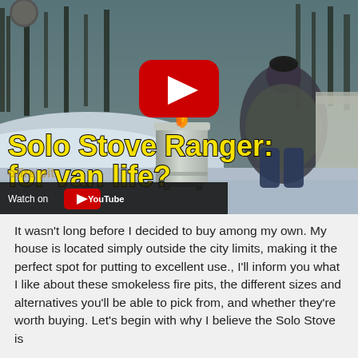[Figure (screenshot): YouTube video thumbnail showing a man crouching next to a Solo Stove Ranger fire pit in a snowy outdoor setting with trees in background. Large yellow bold text reads 'Solo Stove Ranger: for van life?' with a YouTube play button overlay and a 'Watch on YouTube' bar at the bottom.]
It wasn't long before I decided to buy among my own. My house is located simply outside the city limits, making it the perfect spot for putting to excellent use., I'll inform you what I like about these smokeless fire pits, the different sizes and alternatives you'll be able to pick from, and whether they're worth buying. Let's begin with why I believe the Solo Stove is a terrific fire pit in my next post. Truthfully, I do the most like...